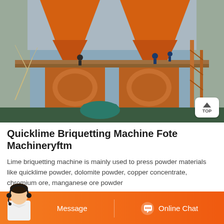[Figure (photo): Aerial/elevated photograph of large orange quicklime briquetting machines with orange hoppers at top, workers visible on the platform, industrial facility setting with stone walls in background, green motor visible at bottom center.]
Quicklime Briquetting Machine Fote Machineryftm
Lime briquetting machine is mainly used to press powder materials like quicklime powder, dolomite powder, copper concentrate, chromium ore, manganese ore powder